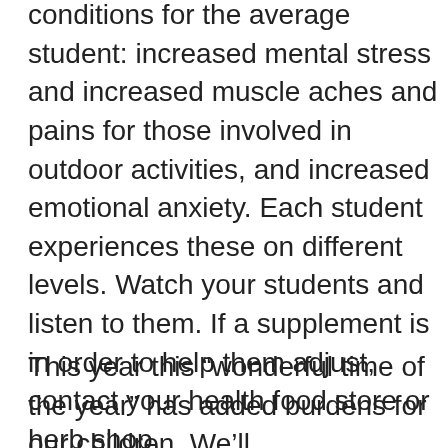the new school year also brings on other conditions for the average student: increased mental stress and increased muscle aches and pains for those involved in outdoor activities, and increased emotional anxiety. Each student experiences these on different levels. Watch your students and listen to them. If a supplement is in order to help them adjust, contact your health food store or herb shop.
This year this “wonderful time of the year” has added burdens for our children. We’ll